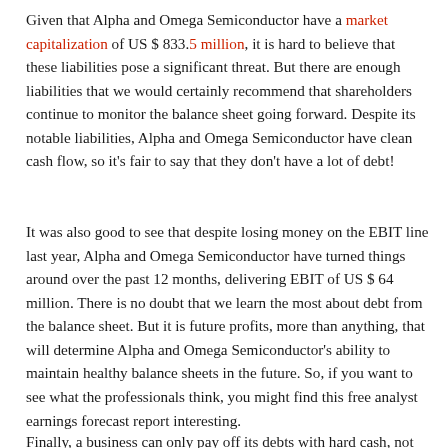Given that Alpha and Omega Semiconductor have a market capitalization of US $ 833.5 million, it is hard to believe that these liabilities pose a significant threat. But there are enough liabilities that we would certainly recommend that shareholders continue to monitor the balance sheet going forward. Despite its notable liabilities, Alpha and Omega Semiconductor have clean cash flow, so it's fair to say that they don't have a lot of debt!
It was also good to see that despite losing money on the EBIT line last year, Alpha and Omega Semiconductor have turned things around over the past 12 months, delivering EBIT of US $ 64 million. There is no doubt that we learn the most about debt from the balance sheet. But it is future profits, more than anything, that will determine Alpha and Omega Semiconductor's ability to maintain healthy balance sheets in the future. So, if you want to see what the professionals think, you might find this free analyst earnings forecast report interesting.
Finally, a business can only pay off its debts with hard cash, not